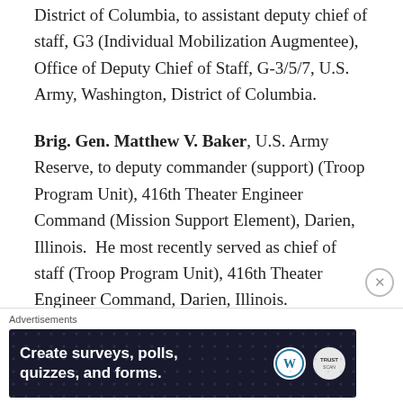District of Columbia, to assistant deputy chief of staff, G3 (Individual Mobilization Augmentee), Office of Deputy Chief of Staff, G-3/5/7, U.S. Army, Washington, District of Columbia.
Brig. Gen. Matthew V. Baker, U.S. Army Reserve, to deputy commander (support) (Troop Program Unit), 416th Theater Engineer Command (Mission Support Element), Darien, Illinois.  He most recently served as chief of staff (Troop Program Unit), 416th Theater Engineer Command, Darien, Illinois.
Brig. Gen. Mark E. Black, U.S. Army Reserve, to deputy commander (Troop Program Unit), 108th Training
Advertisements
[Figure (other): Advertisement banner for WordPress survey/forms tool. Dark background with white text: 'Create surveys, polls, quizzes, and forms.' WordPress logo and a scan badge visible.]